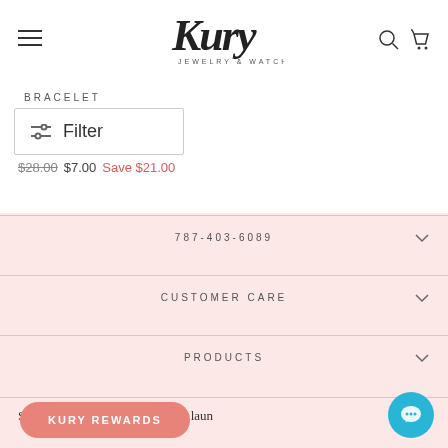[Figure (logo): Kury Jewelry & Watches logo — cursive 'Kury' script with 'JEWELRY & WATCHES' subtitle, hamburger menu icon on left, search and cart icons on right]
BRACELET
Filter
$28.00  $7.00  Save $21.00
787-403-6089
CUSTOMER CARE
PRODUCTS
S offers and new product laun
KURY REWARDS